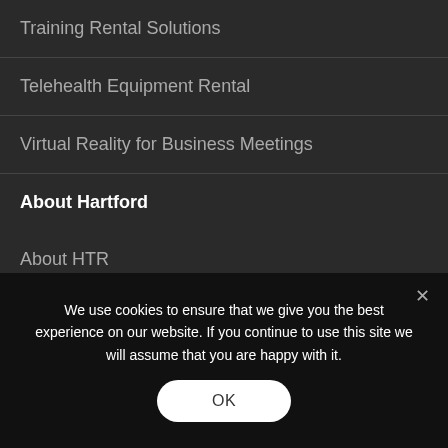Training Rental Solutions
Telehealth Equipment Rental
Virtual Reality for Business Meetings
About Hartford
About HTR
Careers
Green Program
We use cookies to ensure that we give you the best experience on our website. If you continue to use this site we will assume that you are happy with it.
OK